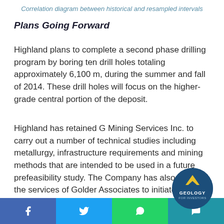Correlation diagram between historical and resampled intervals
Plans Going Forward
Highland plans to complete a second phase drilling program by boring ten drill holes totaling approximately 6,100 m, during the summer and fall of 2014. These drill holes will focus on the higher-grade central portion of the deposit.
Highland has retained G Mining Services Inc. to carry out a number of technical studies including metallurgy, infrastructure requirements and mining methods that are intended to be used in a future prefeasibility study. The Company has also retained the services of Golder Associates to initiate hydrological studies of the ar... including the White River North deposit.
[Figure (logo): Geology for Investors circular logo with yellow triangle/chevron icon on dark blue background]